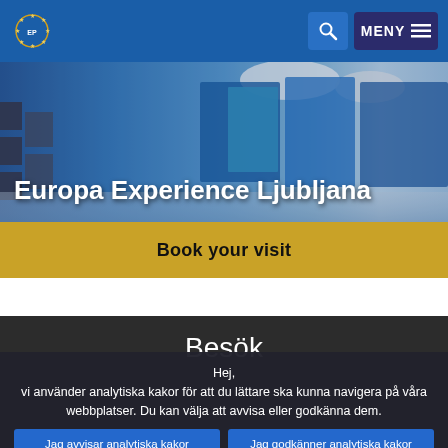Europa Experience Ljubljana – navigation bar with European Parliament logo, search button, and MENY menu button
[Figure (photo): Hero image of Europa Experience Ljubljana exhibition space with blue and teal display panels, circular lighting elements, and portrait displays. Title text 'Europa Experience Ljubljana' overlaid in white.]
Europa Experience Ljubljana
Book your visit
Besök
Hej,
vi använder analytiska kakor för att du lättare ska kunna navigera på våra webbplatser. Du kan välja att avvisa eller godkänna dem.
Jag avvisar analytiska kakor
Jag godkänner analytiska kakor
För information om övriga kakor och serverloggar som vi använder kan du läsa vår policy för skydd av personuppgifter , vår policy för kakor och vår genomgång av kakor.